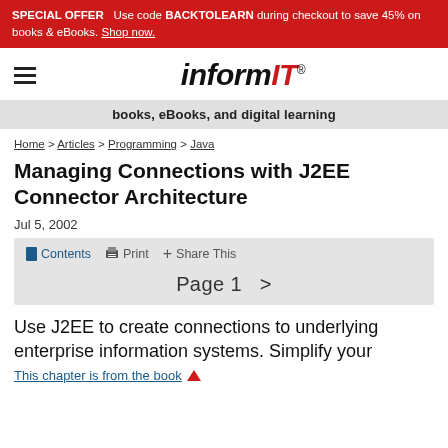SPECIAL OFFER  Use code BACKTOLEARN during checkout to save 45% on books & eBooks. Shop now.
[Figure (logo): InformIT logo with hamburger menu icon]
books, eBooks, and digital learning
Home > Articles > Programming > Java
Managing Connections with J2EE Connector Architecture
Jul 5, 2002
Contents  Print  Share This  Page 1 >
Use J2EE to create connections to underlying enterprise information systems. Simplify your
This chapter is from the book